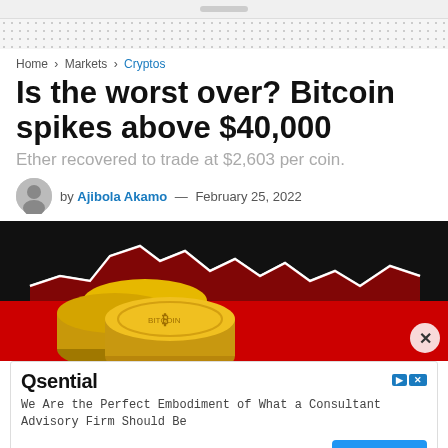Home > Markets > Cryptos
Is the worst over? Bitcoin spikes above $40,000
Ether recovered to trade at $2,603 per coin.
by Ajibola Akamo — February 25, 2022
[Figure (photo): Bitcoin gold coins stacked in front of a red and black chart showing a volatile price line with sharp upward and downward movements.]
Qsential
We Are the Perfect Embodiment of What a Consultant Advisory Firm Should Be
qsential.com
OPEN